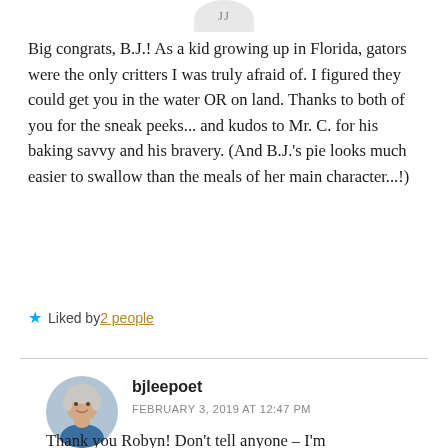[Figure (illustration): Partial top of a circular avatar with initials 'JJ' on a light gray background]
Big congrats, B.J.! As a kid growing up in Florida, gators were the only critters I was truly afraid of. I figured they could get you in the water OR on land. Thanks to both of you for the sneak peeks... and kudos to Mr. C. for his baking savvy and his bravery. (And B.J.'s pie looks much easier to swallow than the meals of her main character...!)
★ Liked by 2 people
[Figure (photo): Circular avatar photo of a smiling elderly woman with short gray hair wearing a blue top]
bjleepoet
FEBRUARY 3, 2019 AT 12:47 PM
Thank you Robyn! Don't tell anyone – I'm